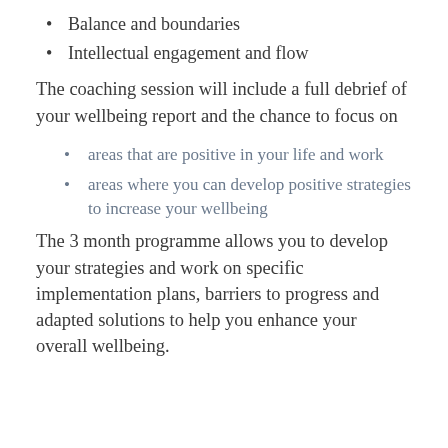Balance and boundaries
Intellectual engagement and flow
The coaching session will include a full debrief of your wellbeing report and the chance to focus on
areas that are positive in your life and work
areas where you can develop positive strategies to increase your wellbeing
The 3 month programme allows you to develop your strategies and work on specific implementation plans, barriers to progress and adapted solutions to help you enhance your overall wellbeing.